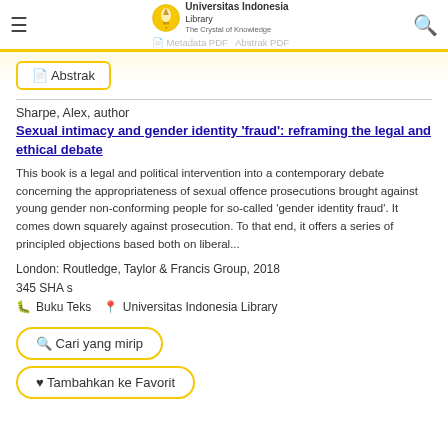Universitas Indonesia Library – The Crystal of Knowledge | Metadata PDF | Abstrak PDF
Abstrak
Sharpe, Alex, author
Sexual intimacy and gender identity 'fraud': reframing the legal and ethical debate
This book is a legal and political intervention into a contemporary debate concerning the appropriateness of sexual offence prosecutions brought against young gender non-conforming people for so-called 'gender identity fraud'. It comes down squarely against prosecution. To that end, it offers a series of principled objections based both on liberal...
London: Routledge, Taylor & Francis Group, 2018
345 SHA s
🗄 Buku Teks 📍 Universitas Indonesia Library
Cari yang mirip
Tambahkan ke Favorit